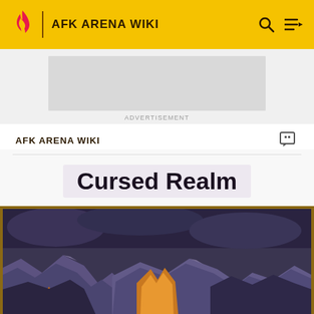AFK ARENA WIKI
ADVERTISEMENT
AFK ARENA WIKI
Cursed Realm
[Figure (illustration): Cursed Realm game artwork showing purple rocky landscape with orange/yellow glowing elements and dark atmospheric background]